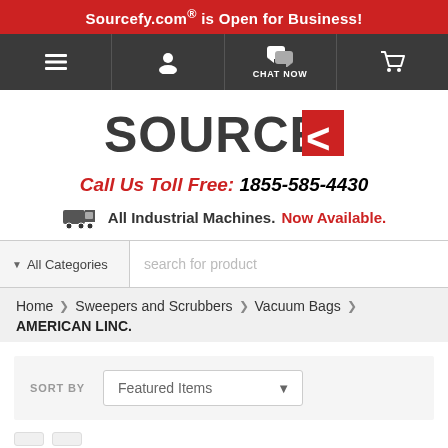Sourcefy.com® is Open for Business!
[Figure (screenshot): Navigation bar with menu, user, chat now, and cart icons on dark background]
[Figure (logo): Sourcefy logo with red arrow graphic]
Call Us Toll Free: 1855-585-4430
All Industrial Machines. Now Available.
All Categories  search for product
Part Finder
Home > Sweepers and Scrubbers > Vacuum Bags > AMERICAN LINC.
SORT BY  Featured Items